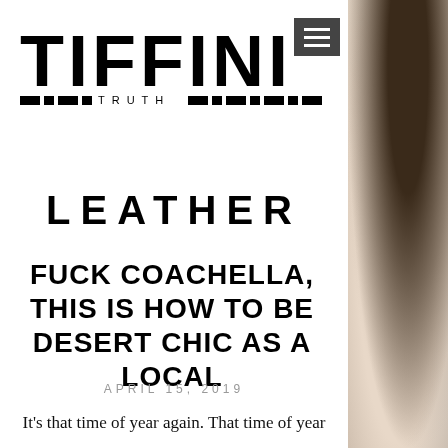[Figure (logo): TIFFINI TRUTH logo with bold block letters and decorative dashes, with TRUTH in small caps below]
[Figure (photo): Partial photo of a person's face/portrait on the right side strip]
LEATHER
FUCK COACHELLA, THIS IS HOW TO BE DESERT CHIC AS A LOCAL
APRIL 15, 2019
It's that time of year again. That time of year